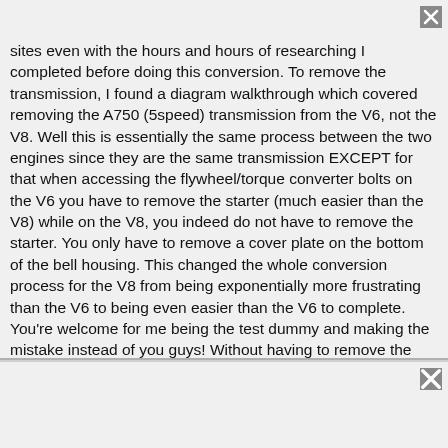sites even with the hours and hours of researching I completed before doing this conversion. To remove the transmission, I found a diagram walkthrough which covered removing the A750 (5speed) transmission from the V6, not the V8. Well this is essentially the same process between the two engines since they are the same transmission EXCEPT for that when accessing the flywheel/torque converter bolts on the V6 you have to remove the starter (much easier than the V8) while on the V8, you indeed do not have to remove the starter. You only have to remove a cover plate on the bottom of the bell housing. This changed the whole conversion process for the V8 from being exponentially more frustrating than the V6 to being even easier than the V6 to complete. You're welcome for me being the test dummy and making the mistake instead of you guys! Without having to remove the starter on the V8, it would have cut down from a fifty hour total working tomorrow to possibly 35.